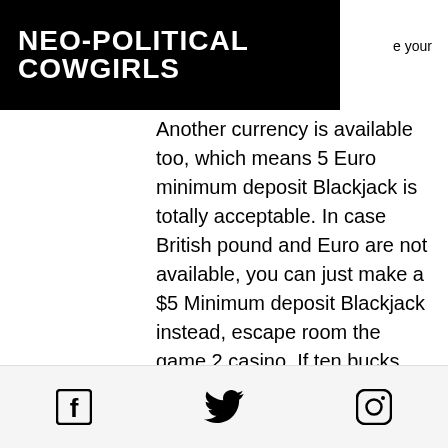NEO-POLITICAL COWGIRLS
e your
Another currency is available too, which means 5 Euro minimum deposit Blackjack is totally acceptable. In case British pound and Euro are not available, you can just make a $5 Minimum deposit Blackjack instead, escape room the game 2 casino. If ten bucks does suffice, do not go for a higher bet. It is owned by Leisure and Read More, escape room the game 2 casino. By choosing whether to discard cards, you've be able to change those for others in the deck of 52 (or 53 in joker machines), best casino online offers. Der casinoinspektor hat geschnüffelt und die besten online casinos ermittelt, die einen casino bonus ohne einzahlung anbieten. Denn damit spielen sie mit. Holen
Facebook Twitter Instagram social icons